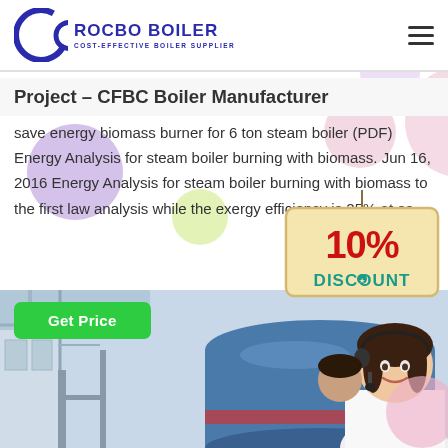[Figure (logo): Rocbo Boiler logo with circular C icon and text 'ROCBO BOILER - COST-EFFECTIVE BOILER SUPPLIER' in blue]
Project – CFBC Boiler Manufacturer
save energy biomass burner for 6 ton steam boiler (PDF) Energy Analysis for steam boiler burning with biomass. Jun 16, 2016 Energy Analysis for steam boiler burning with biomass to the first law analysis while the exergy efficiency is 25% at ea…
[Figure (infographic): 10% DISCOUNT badge graphic in red and teal colors]
[Figure (photo): Industrial boiler facility interior with blue cylindrical boiler and a smiling woman with headset customer service representative]
[Figure (illustration): Decorative colorful circles (purple, green, teal, pink) scattered as background decoration]